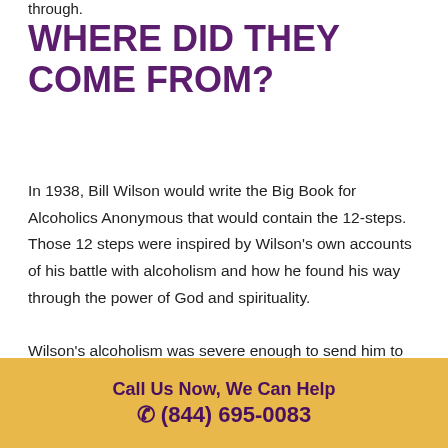through.
WHERE DID THEY COME FROM?
In 1938, Bill Wilson would write the Big Book for Alcoholics Anonymous that would contain the 12-steps. Those 12 steps were inspired by Wilson's own accounts of his battle with alcoholism and how he found his way through the power of God and spirituality.
Wilson's alcoholism was severe enough to send him to the hospital on multiple occasions. And through his
Call Us Now, We Can Help
☎ (844) 695-0083